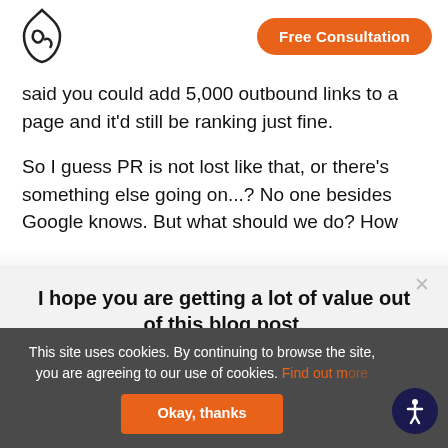Free Consultation
said you could add 5,000 outbound links to a page and it'd still be ranking just fine.
So I guess PR is not lost like that, or there's something else going on...? No one besides Google knows. But what should we do? How
I hope you are getting a lot of value out of this blog post.
Do you want to learn more about this topic? Schedule a Free Consultation call with a Single Grain Expert now!
This site uses cookies. By continuing to browse the site, you are agreeing to our use of cookies. Find out more
Okay, thanks